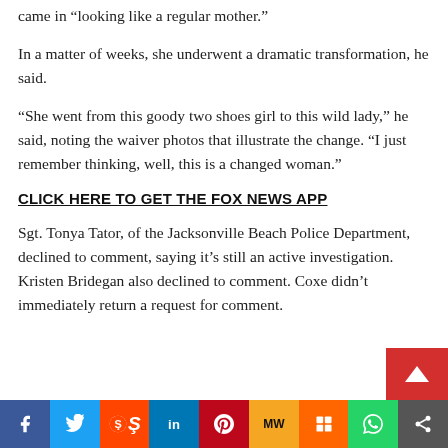came in “looking like a regular mother.”
In a matter of weeks, she underwent a dramatic transformation, he said.
“She went from this goody two shoes girl to this wild lady,” he said, noting the waiver photos that illustrate the change. “I just remember thinking, well, this is a changed woman.”
CLICK HERE TO GET THE FOX NEWS APP
Sgt. Tonya Tator, of the Jacksonville Beach Police Department, declined to comment, saying it’s still an active investigation. Kristen Bridegan also declined to comment. Coxe didn’t immediately return a request for comment.
[Figure (other): Social media share bar with buttons: Facebook, Twitter, Reddit, LinkedIn, Pinterest, MeWe, Mix, WhatsApp, Share]